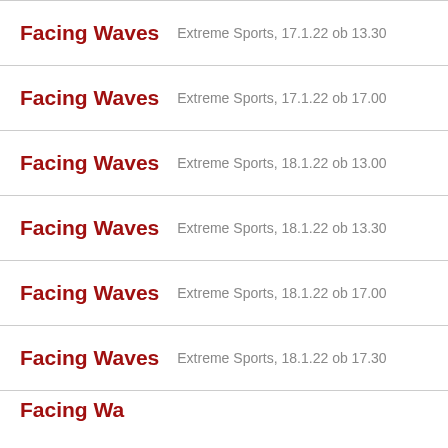Facing Waves  Extreme Sports, 17.1.22 ob 13.30
Facing Waves  Extreme Sports, 17.1.22 ob 17.00
Facing Waves  Extreme Sports, 18.1.22 ob 13.00
Facing Waves  Extreme Sports, 18.1.22 ob 13.30
Facing Waves  Extreme Sports, 18.1.22 ob 17.00
Facing Waves  Extreme Sports, 18.1.22 ob 17.30
Facing Waves  ...